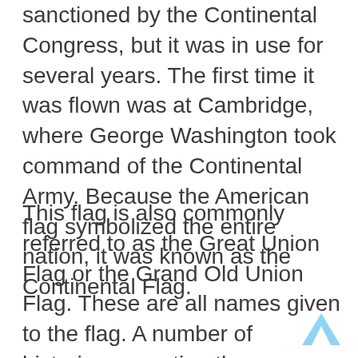sanctioned by the Continental Congress, but it was in use for several years. The first time it was flown was at Cambridge, where George Washington took command of the Continental Army. Because the American flag symbolized the entire nation, it was known as the Continental Flag.
This flag is also commonly referred to as the Great Union Flag or the Grand Old Union Flag. These are all names given to the flag. A number of historians question the authenticity of the Continental Flag, but the fact remains that it is one of the most recognized symbols of the American Revolution.
A lot of the history of the American Revolution revolves around the United States. This is the flag we see today. If you'd like to purchase a Continental Flag for your home, you can order one online. It is a beautiful and meaningful symbol of the American Dream and a